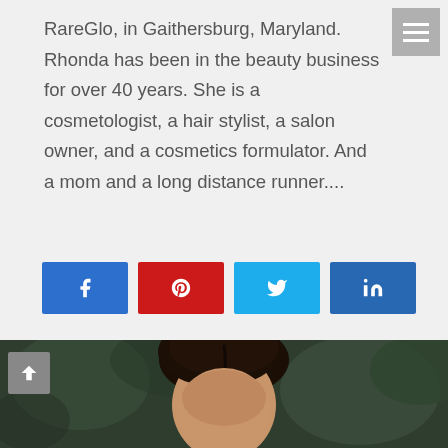RareGlo, in Gaithersburg, Maryland. Rhonda has been in the beauty business for over 40 years. She is a cosmetologist, a hair stylist, a salon owner, and a cosmetics formulator. And a mom and a long distance runner....
[Figure (infographic): Social share buttons: Facebook (blue), Pinterest (red), Twitter (light blue), LinkedIn (dark blue)]
[Figure (photo): Portrait photo of a person, showing top of head with dark hair, against a blurred dark green outdoor background]